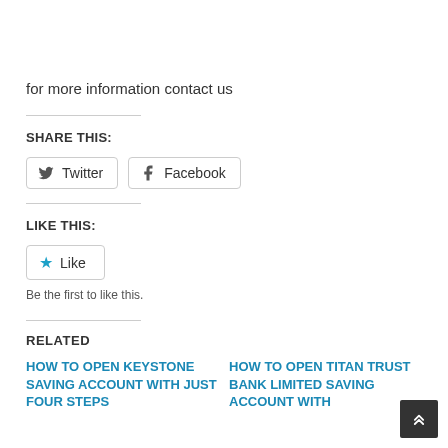for more information contact us
SHARE THIS:
Twitter   Facebook
LIKE THIS:
Like
Be the first to like this.
RELATED
HOW TO OPEN KEYSTONE SAVING ACCOUNT WITH JUST FOUR STEPS
HOW TO OPEN TITAN TRUST BANK LIMITED SAVING ACCOUNT WITH 3 WITHOUT FULL...